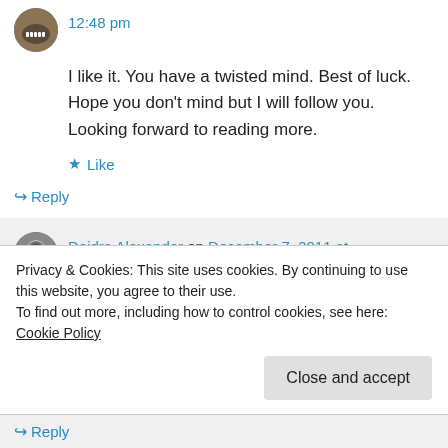12:48 pm
I like it. You have a twisted mind. Best of luck. Hope you don't mind but I will follow you. Looking forward to reading more.
★ Like
↳ Reply
Deidra Alexander on December 7, 2011 at 4:56 pm
Privacy & Cookies: This site uses cookies. By continuing to use this website, you agree to their use.
To find out more, including how to control cookies, see here: Cookie Policy
Close and accept
↳ Reply